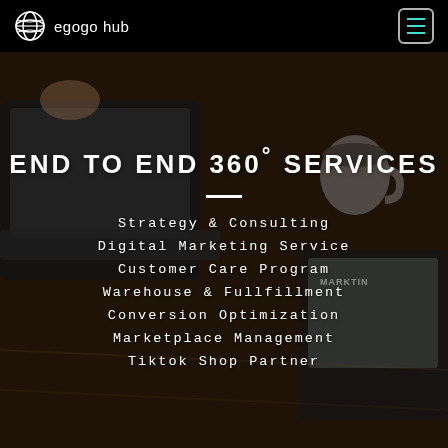[Figure (photo): Dark background photo of laptops and a coffee mug on a wooden desk, with people working]
egogo hub
END TO END 360° SERVICES
Strategy & Consulting
Digital Marketing Service
Customer Care Program
Warehouse & Fullfillment
Conversion Optimization
Marketplace Management
Tiktok Shop Partner